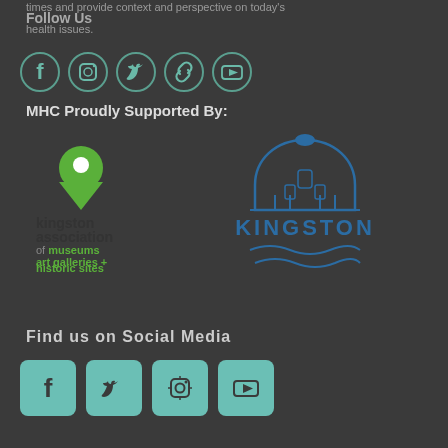times and provide context and perspective on today's health issues.
Follow Us
[Figure (illustration): Row of social media icons: Facebook, Instagram, Twitter, chain/link, YouTube in teal/grey on dark background]
MHC Proudly Supported By:
[Figure (logo): Kingston Association of Museums Art Galleries + Historic Sites logo with green map pin]
[Figure (logo): City of Kingston logo with blue dome building illustration and KINGSTON text]
Find us on Social Media
[Figure (illustration): Four teal rounded-square social media icons: Facebook, Twitter, Instagram, YouTube]